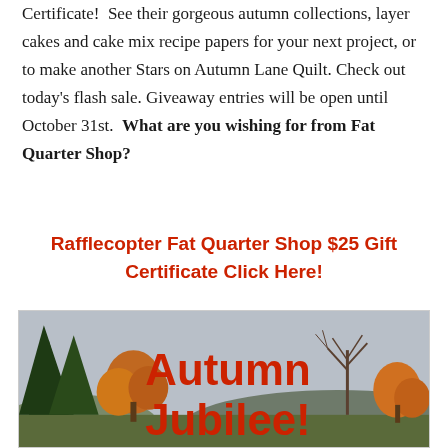Certificate! See their gorgeous autumn collections, layer cakes and cake mix recipe papers for your next project, or to make another Stars on Autumn Lane Quilt. Check out today's flash sale. Giveaway entries will be open until October 31st. What are you wishing for from Fat Quarter Shop?
Rafflecopter Fat Quarter Shop $25 Gift Certificate Click Here!
[Figure (photo): Autumn landscape photo with trees showing fall foliage and bare branches against a cloudy sky, with text overlay reading 'Autumn Jubilee!' in red.]